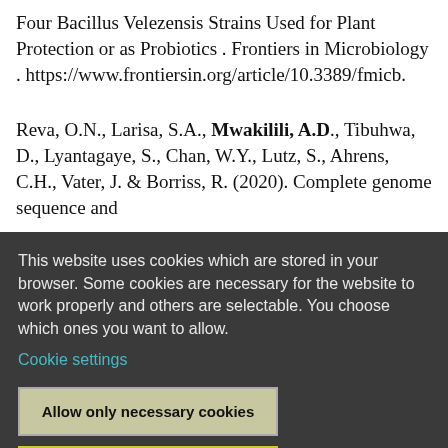Four Bacillus Velezensis Strains Used for Plant Protection or as Probiotics . Frontiers in Microbiology . https://www.frontiersin.org/article/10.3389/fmicb.
Reva, O.N., Larisa, S.A., Mwakilili, A.D., Tibuhwa, D., Lyantagaye, S., Chan, W.Y., Lutz, S., Ahrens, C.H., Vater, J. & Borriss, R. (2020). Complete genome sequence and
This website uses cookies which are stored in your browser. Some cookies are necessary for the website to work properly and others are selectable. You choose which ones you want to allow.
Cookie settings
Allow only necessary cookies
Allow all cookies